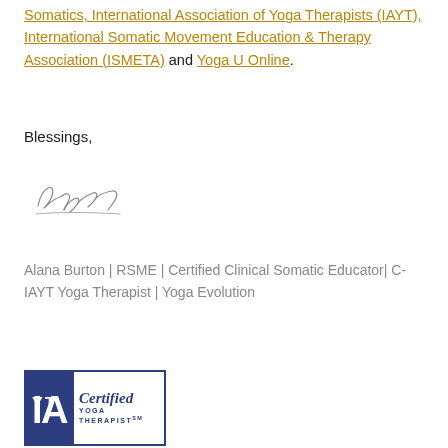Somatics, International Association of Yoga Therapists (IAYT), International Somatic Movement Education & Therapy Association (ISMETA) and Yoga U Online.
Blessings,
[Figure (illustration): Handwritten cursive signature reading 'Alana']
Alana Burton | RSME | Certified Clinical Somatic Educator| C-IAYT Yoga Therapist | Yoga Evolution
[Figure (logo): IAYT Certified Yoga Therapist logo — dark blue rectangle with IAYT monogram on left and 'Certified YOGA THERAPIST' text on right with SM mark]